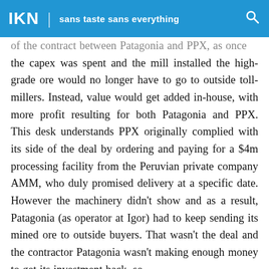IKN | sans taste sans everything
of the contract between Patagonia and PPX, as once the capex was spent and the mill installed the high-grade ore would no longer have to go to outside toll-millers. Instead, value would get added in-house, with more profit resulting for both Patagonia and PPX. This desk understands PPX originally complied with its side of the deal by ordering and paying for a $4m processing facility from the Peruvian private company AMM, who duly promised delivery at a specific date. However the machinery didn't show and as a result, Patagonia (as operator at Igor) had to keep sending its mined ore to outside buyers. That wasn't the deal and the contractor Patagonia wasn't making enough money to get its investment back, so